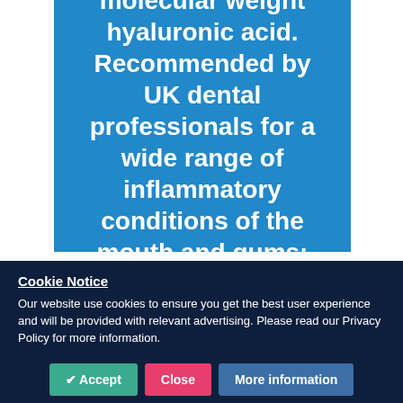molecular weight hyaluronic acid. Recommended by UK dental professionals for a wide range of inflammatory conditions of the mouth and gums:
Cookie Notice
Our website use cookies to ensure you get the best user experience and will be provided with relevant advertising. Please read our Privacy Policy for more information.